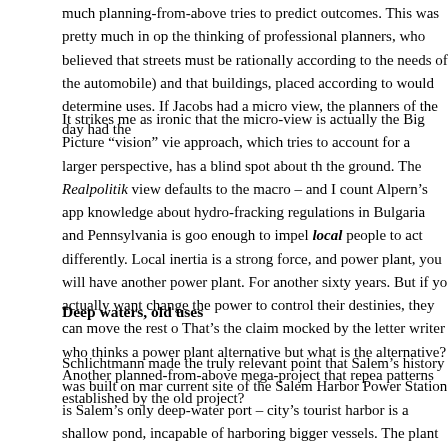much planning-from-above tries to predict outcomes. This was pretty much in op the thinking of professional planners, who believed that streets must be rationally according to the needs of the automobile) and that buildings, placed according to would determine uses. If Jacobs had a micro view, the planners of the day had the
It strikes me as ironic that the micro-view is actually the Big Picture “vision” vie approach, which tries to account for a larger perspective, has a blind spot about th the ground. The Realpolitik view defaults to the macro – and I count Alpern’s app knowledge about hydro-fracking regulations in Bulgaria and Pennsylvania is goo enough to impel local people to act differently. Local inertia is a strong force, an power plant, you will have another power plant. For another sixty years. But if yo actually want change the power to control their destinies, they can move the rest o That’s the claim mocked by the letter writer who thinks a power plant alternative but what is the alternative? Another planned-from-above mega-project that repea patterns established by the old project?
Deep waters, old uses
Schlichtmann made the truly relevant point that Salem’s history was built on mar current site of the Salem Harbor Power Station is Salem’s only deep-water port – city’s tourist harbor is a shallow pond, incapable of harboring bigger vessels. The plant was built on that prime spot because of the deep harbor, which allowed ship